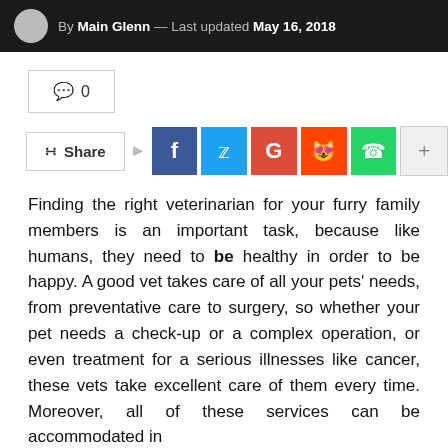By Main Glenn — Last updated May 16, 2018
💬 0
Share
Finding the right veterinarian for your furry family members is an important task, because like humans, they need to be healthy in order to be happy. A good vet takes care of all your pets' needs, from preventative care to surgery, so whether your pet needs a check-up or a complex operation, or even treatment for a serious illnesses like cancer, these vets take excellent care of them every time. Moreover, all of these services can be accommodated in